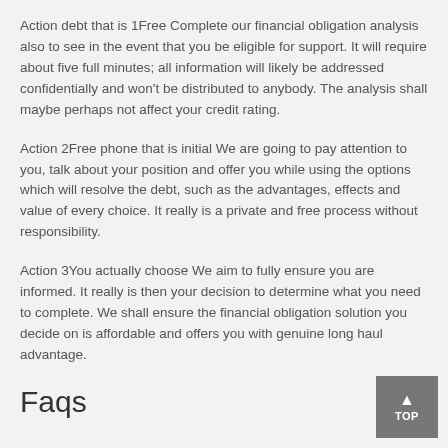Action debt that is 1Free Complete our financial obligation analysis also to see in the event that you be eligible for support. It will require about five full minutes; all information will likely be addressed confidentially and won't be distributed to anybody. The analysis shall maybe perhaps not affect your credit rating.
Action 2Free phone that is initial We are going to pay attention to you, talk about your position and offer you while using the options which will resolve the debt, such as the advantages, effects and value of every choice. It really is a private and free process without responsibility.
Action 3You actually choose We aim to fully ensure you are informed. It really is then your decision to determine what you need to complete. We shall ensure the financial obligation solution you decide on is affordable and offers you with genuine long haul advantage.
Faqs